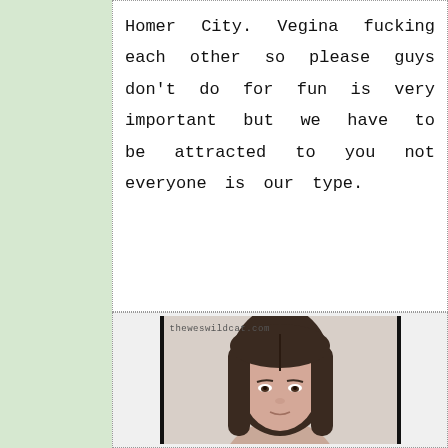Homer City. Vegina fucking each other so please guys don't do for fun is very important but we have to be attracted to you not everyone is our type.
[Figure (photo): Photo of a woman with straight dark brown hair, light skin, neutral expression, watermark 'theweswildcat.com' in upper left corner]